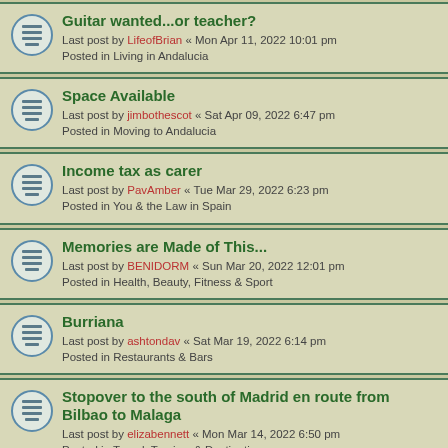Guitar wanted...or teacher?
Last post by LifeofBrian « Mon Apr 11, 2022 10:01 pm
Posted in Living in Andalucia
Space Available
Last post by jimbothescot « Sat Apr 09, 2022 6:47 pm
Posted in Moving to Andalucia
Income tax as carer
Last post by PavAmber « Tue Mar 29, 2022 6:23 pm
Posted in You & the Law in Spain
Memories are Made of This...
Last post by BENIDORM « Sun Mar 20, 2022 12:01 pm
Posted in Health, Beauty, Fitness & Sport
Burriana
Last post by ashtondav « Sat Mar 19, 2022 6:14 pm
Posted in Restaurants & Bars
Stopover to the south of Madrid en route from Bilbao to Malaga
Last post by elizabennett « Mon Mar 14, 2022 6:50 pm
Posted in Travel, Tourism & Destinations
Cardboard/Paper Bin collection
Last post by pensure1988 « Thu Mar 03, 2022 9:36 am